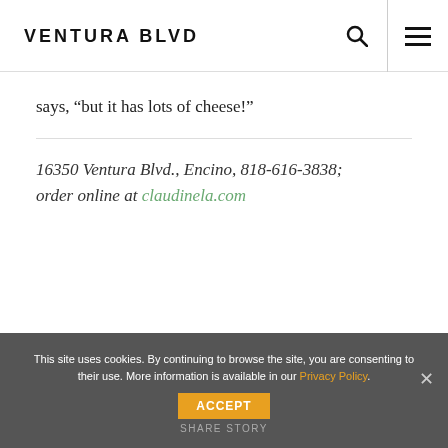VENTURA BLVD
says, “but it has lots of cheese!”
16350 Ventura Blvd., Encino, 818-616-3838; order online at claudinela.com
This site uses cookies. By continuing to browse the site, you are consenting to their use. More information is available in our Privacy Policy.
ACCEPT
SHARE STORY